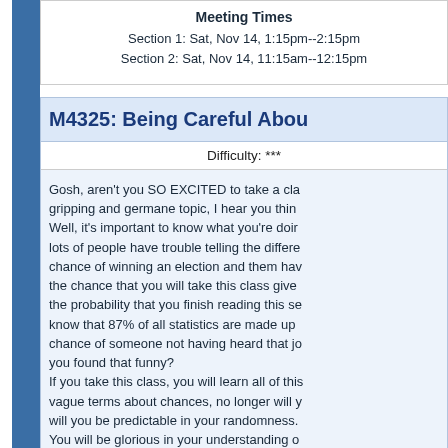Meeting Times
Section 1: Sat, Nov 14, 1:15pm--2:15pm
Section 2: Sat, Nov 14, 11:15am--12:15pm
M4325: Being Careful Abou...
Difficulty: ***
Gosh, aren't you SO EXCITED to take a cla... gripping and germane topic, I hear you thin... Well, it's important to know what you're doin... lots of people have trouble telling the differe... chance of winning an election and them hav... the chance that you will take this class give... the probability that you finish reading this se... know that 87% of all statistics are made up... chance of someone not having heard that jo... you found that funny?
If you take this class, you will learn all of thi... vague terms about chances, no longer will y... will you be predictable in your randomness.
You will be glorious in your understanding o... common tricks used to take advantage of y... Welcome, and be entertained!